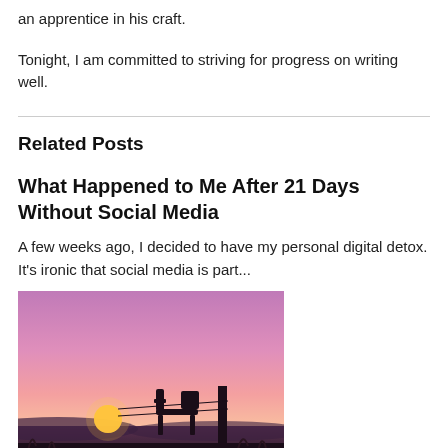an apprentice in his craft.
Tonight, I am committed to striving for progress on writing well.
Related Posts
What Happened to Me After 21 Days Without Social Media
A few weeks ago, I decided to have my personal digital detox. It's ironic that social media is part...
[Figure (photo): Silhouette of a chair and fence post against a vivid pink and purple sunset sky with the sun near the horizon]